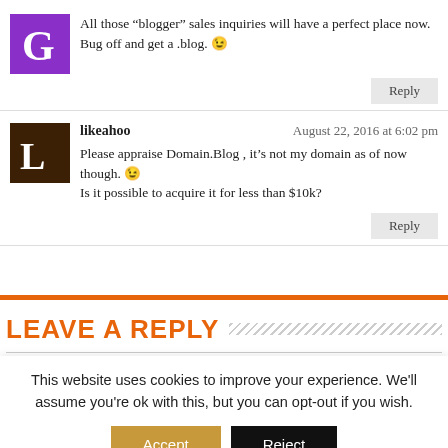All those “blogger” sales inquiries will have a perfect place now. Bug off and get a .blog. 😉
Reply
likeahoo   August 22, 2016 at 6:02 pm
Please appraise Domain.Blog , it’s not my domain as of now though. 😉 Is it possible to acquire it for less than $10k?
Reply
LEAVE A REPLY
This website uses cookies to improve your experience. We'll assume you're ok with this, but you can opt-out if you wish.